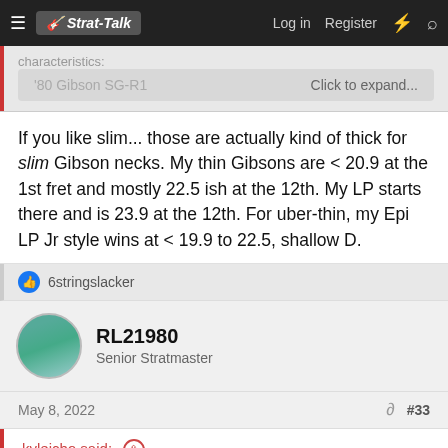Strat-Talk | Log in | Register
characteristics:
'80 Gibson SG-R1    Click to expand...
If you like slim... those are actually kind of thick for slim Gibson necks. My thin Gibsons are < 20.9 at the 1st fret and mostly 22.5 ish at the 12th. My LP starts there and is 23.9 at the 12th. For uber-thin, my Epi LP Jr style wins at < 19.9 to 22.5, shallow D.
6stringslacker
RL21980
Senior Stratmaster
May 8, 2022    #33
kylejcho said: